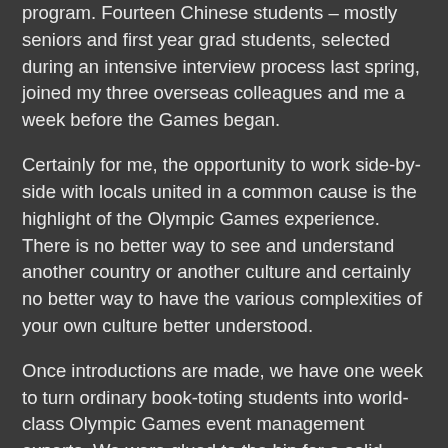program. Fourteen Chinese students – mostly seniors and first year grad students, selected during an intensive interview process last spring, joined my three overseas colleagues and me a week before the Games began.
Certainly for me, the opportunity to work side-by-side with locals united in a common cause is the highlight of the Olympic Games experience. There is no better way to see and understand another country or another culture and certainly no better way to have the various complexities of your own culture better understood.
Once introductions are made, we have one week to turn ordinary book-toting students into world-class Olympic Games event management experts. We were glued to the hip for a solid month and in that time we go from strangers and pilgrims to family. These kids are amazing and I imagine on some level their lives were quite changed by their Olympics Games experience.
I'd like for you to meet some of them – my little sisters - they are as beautiful on the inside as they are on the outside I